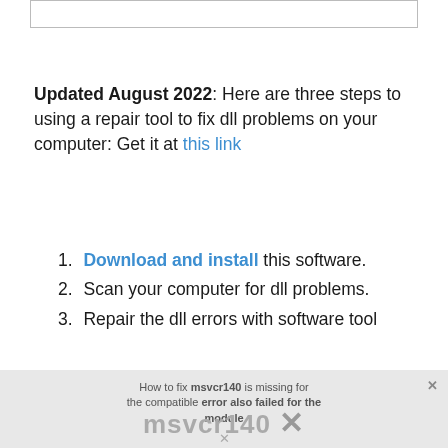[Figure (screenshot): Empty input box / UI element at top of page]
Updated August 2022: Here are three steps to using a repair tool to fix dll problems on your computer: Get it at this link
1. Download and install this software.
2. Scan your computer for dll problems.
3. Repair the dll errors with software tool
[Figure (screenshot): Partially visible screenshot showing a dialog/window with msvcr140 error text and a logo watermark]